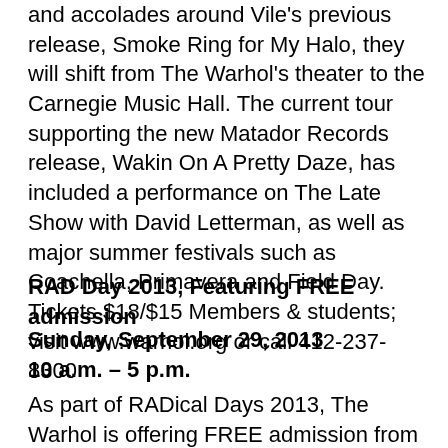and accolades around Vile's previous release, Smoke Ring for My Halo, they will shift from The Warhol's theater to the Carnegie Music Hall. The current tour supporting the new Matador Records release, Wakin On A Pretty Daze, has included a performance on The Late Show with David Letterman, as well as major summer festivals such as Coachella, Primavera and Field Day. Tickets $18/$15 Members & students; visit www.warhol.org or call 412-237-8300
RAD Day 2013, Featuring FREE admission
Sunday, September 29, 2013
10 a.m. – 5 p.m.
As part of RADical Days 2013, The Warhol is offering FREE admission from 10 a.m. – 5 p.m. on Sunday, September 29. RADical Days is an annual